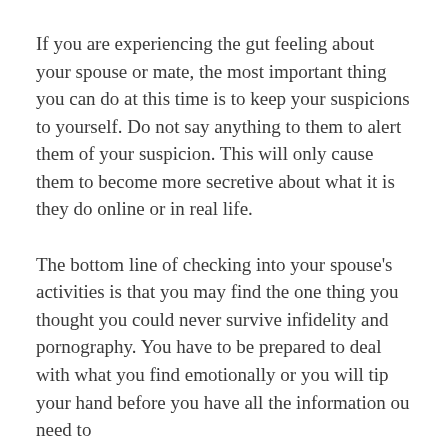If you are experiencing the gut feeling about your spouse or mate, the most important thing you can do at this time is to keep your suspicions to yourself. Do not say anything to them to alert them of your suspicion. This will only cause them to become more secretive about what it is they do online or in real life.
The bottom line of checking into your spouse's activities is that you may find the one thing you thought you could never survive infidelity and pornography. You have to be prepared to deal with what you find emotionally or you will tip your hand before you have all the information ou need to